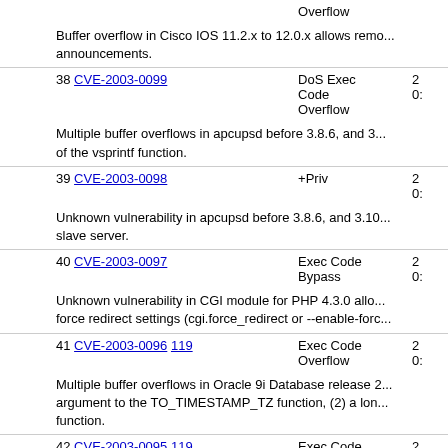Overflow
Buffer overflow in Cisco IOS 11.2.x to 12.0.x allows remo... announcements.
38 CVE-2003-0099 DoS Exec Code Overflow 2... 0...
Multiple buffer overflows in apcupsd before 3.8.6, and 3... of the vsprintf function.
39 CVE-2003-0098 +Priv 2... 0...
Unknown vulnerability in apcupsd before 3.8.6, and 3.10... slave server.
40 CVE-2003-0097 Exec Code Bypass 2... 0...
Unknown vulnerability in CGI module for PHP 4.3.0 allo... force redirect settings (cgi.force_redirect or --enable-forc...
41 CVE-2003-0096 119 Exec Code Overflow 2... 0...
Multiple buffer overflows in Oracle 9i Database release 2... argument to the TO_TIMESTAMP_TZ function, (2) a lon... function.
42 CVE-2003-0095 119 Exec Code Overflow 2... 0...
Buffer overflow in ORACLE.EXE for Oracle Database C...